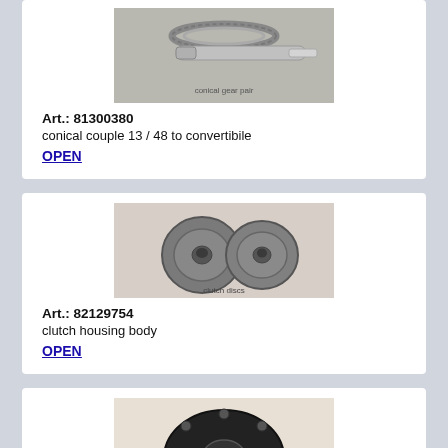[Figure (photo): Photo of a conical gear pair: a ring gear and a pinion shaft, metallic silver color, on gray background]
Art.: 81300380
conical couple 13 / 48 to convertibile
OPEN
[Figure (photo): Photo of two clutch housing body parts, round disc-shaped metallic components, side by side on light background]
Art.: 82129754
clutch housing body
OPEN
[Figure (photo): Photo of a black circular automotive part (partially visible at bottom of page) with studs/bolts around the circumference]